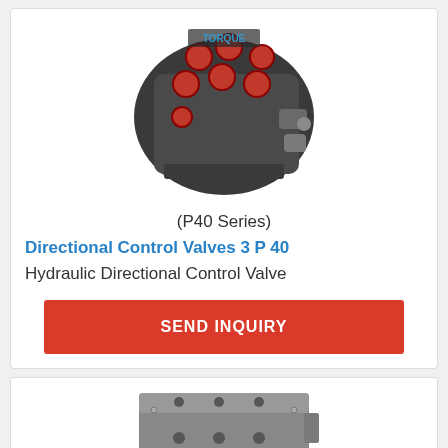[Figure (photo): Hydraulic directional control valve (P40 Series) with red knobs and metal fittings, viewed from above at an angle. Brand name TORQUE visible on top.]
(P40 Series)
Directional Control Valves 3 P 40
Hydraulic Directional Control Valve
SEND INQUIRY
[Figure (photo): Hydraulic valve block component, gray metal, rectangular with multiple ports and holes, viewed from above at an angle.]